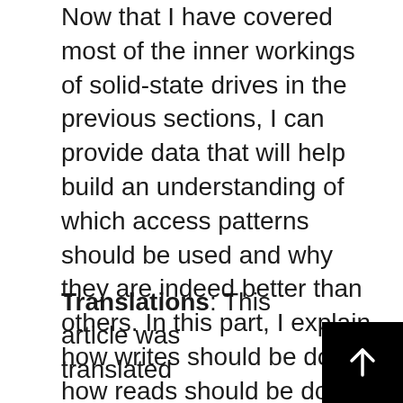Now that I have covered most of the inner workings of solid-state drives in the previous sections, I can provide data that will help build an understanding of which access patterns should be used and why they are indeed better than others. In this part, I explain how writes should be done, how reads should be done, and why concurrent read and write operations are interfering. I also cover a few optimizations at the level of the filesystem which can improve performance.
Translations: This article was translated